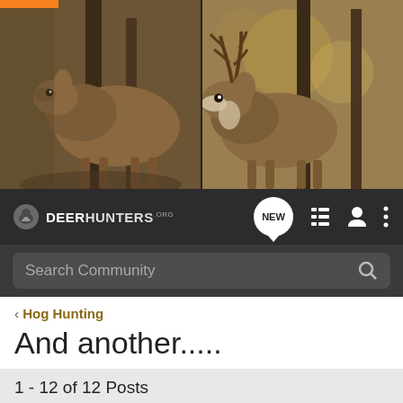[Figure (photo): Two deer photos side by side: left shows a doe facing right near trees, right shows a buck with antlers facing left in a forest setting. Orange bar visible at top left corner.]
DeerHunters.org navigation bar with logo, NEW chat badge, list icon, user icon, and menu icon
Search Community
< Hog Hunting
And another.....
→ Jump to Latest
+ Follow
1 - 12 of 12 Posts
kemster99 · Registered
Joined Dec 14, 2009 · 602 Posts